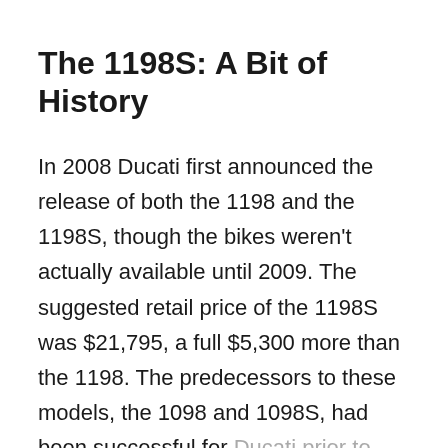The 1198S: A Bit of History
In 2008 Ducati first announced the release of both the 1198 and the 1198S, though the bikes weren't actually available until 2009. The suggested retail price of the 1198S was $21,795, a full $5,300 more than the 1198. The predecessors to these models, the 1098 and 1098S, had been successful for Ducati prior to their release of the Desmosedici RR G8. Next came the